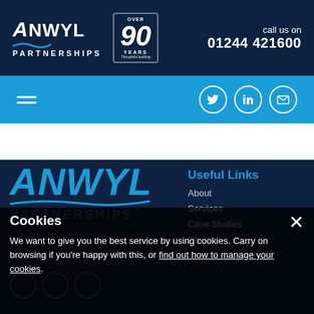ANWYL PARTNERSHIPS — over 90 YEARS — call us on 01244 421600
[Figure (screenshot): Navigation bar with hamburger menu icon and social media icons (Twitter, LinkedIn, Email) on bright blue background]
[Figure (logo): ANWYL PARTNERSHIPS logo in large format with blue wave accent on dark navy background]
Useful Links
About
Services
Case Studies
News
Cookies
We want to give you the best service by using cookies. Carry on browsing if you're happy with this, or find out how to manage your cookies.